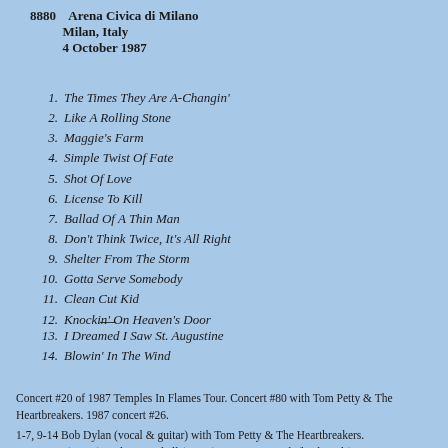8880  Arena Civica di Milano
Milan, Italy
4 October 1987
1. The Times They Are A-Changin'
2. Like A Rolling Stone
3. Maggie's Farm
4. Simple Twist Of Fate
5. Shot Of Love
6. License To Kill
7. Ballad Of A Thin Man
8. Don't Think Twice, It's All Right
9. Shelter From The Storm
10. Gotta Serve Somebody
11. Clean Cut Kid
12. Knockin' On Heaven's Door
13. I Dreamed I Saw St. Augustine
14. Blowin' In The Wind
Concert #20 of 1987 Temples In Flames Tour. Concert #80 with Tom Petty & The Heartbreakers. 1987 concert #26.
1-7, 9-14 Bob Dylan (vocal & guitar) with Tom Petty & The Heartbreakers. Tom Petty (guitar), Mike Campbell (guitar), Benmont Tench (keyboards), Howie Epstein (bass), Stan Lynch (drums).